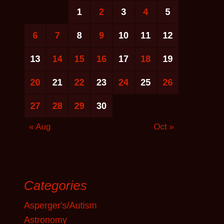| Sun | Mon | Tue | Wed | Thu | Fri | Sat |
| --- | --- | --- | --- | --- | --- | --- |
|  |  | 1 | 2 | 3 | 4 | 5 |
| 6 | 7 | 8 | 9 | 10 | 11 | 12 |
| 13 | 14 | 15 | 16 | 17 | 18 | 19 |
| 20 | 21 | 22 | 23 | 24 | 25 | 26 |
| 27 | 28 | 29 | 30 |  |  |  |
« Aug    Oct »
Categories
Asperger's/Autism
Astronomy
Aviation
History
Humour